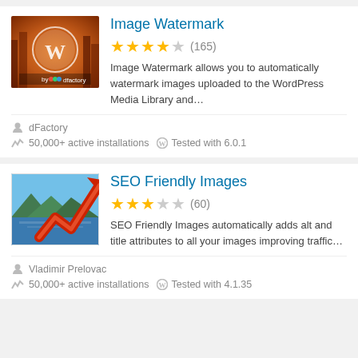[Figure (screenshot): Plugin card for Image Watermark with autumn forest WordPress logo thumbnail]
Image Watermark
★★★★☆ (165)
Image Watermark allows you to automatically watermark images uploaded to the WordPress Media Library and…
dFactory
50,000+ active installations   Tested with 6.0.1
[Figure (screenshot): Plugin card for SEO Friendly Images with upward red arrow chart thumbnail]
SEO Friendly Images
★★★½☆ (60)
SEO Friendly Images automatically adds alt and title attributes to all your images improving traffic…
Vladimir Prelovac
50,000+ active installations   Tested with 4.1.35